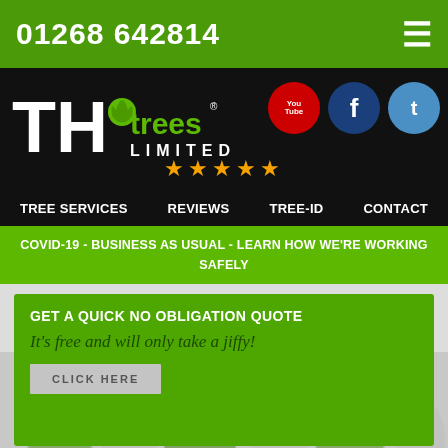01268 642814
[Figure (logo): TH Trees Limited logo with green leaf design on black background]
[Figure (infographic): Social media icons: YouTube (red circle), Facebook (dark blue circle), Twitter (light blue circle)]
★★★★★
TREE SERVICES   REVIEWS   TREE-ID   CONTACT
COVID-19 - BUSINESS AS USUAL - LEARN HOW WE'RE WORKING SAFELY
GET A QUICK NO OBLIGATION QUOTE
It's free and will only take a jiffy!
CLICK HERE
Stock
Tree Cutting Stock, West Hanningfield S